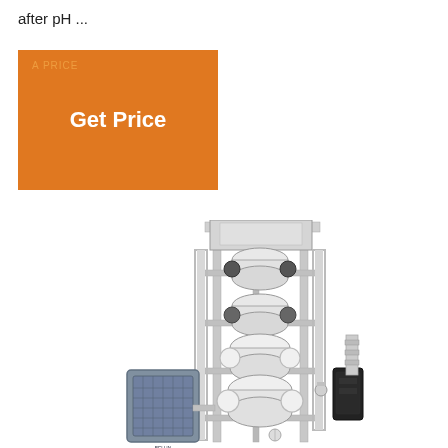after pH ...
[Figure (illustration): Orange 'Get Price' button with faint background text]
[Figure (photo): Industrial reverse osmosis water treatment system with stainless steel frame, multiple membrane housings, pumps, and piping. A grey electrical motor/pump unit is visible on the left side.]